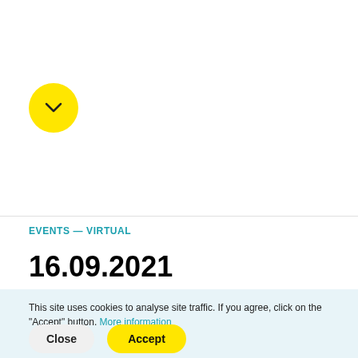[Figure (other): Yellow circle with a downward chevron/arrow icon in the center]
EVENTS — VIRTUAL
16.09.2021
3rd CCP Phenogenomics Conference
This site uses cookies to analyse site traffic. If you agree, click on the "Accept" button. More information
Close
Accept